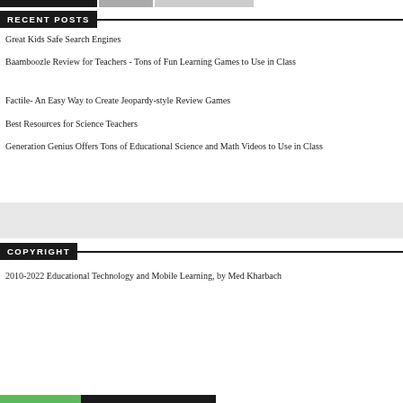[Navigation buttons bar]
RECENT POSTS
Great Kids Safe Search Engines
Baamboozle Review for Teachers - Tons of Fun Learning Games to Use in Class
Factile- An Easy Way to Create Jeopardy-style Review Games
Best Resources for Science Teachers
Generation Genius Offers Tons of Educational Science and Math Videos to Use in Class
COPYRIGHT
2010-2022 Educational Technology and Mobile Learning, by Med Kharbach
[Bottom navigation bar]